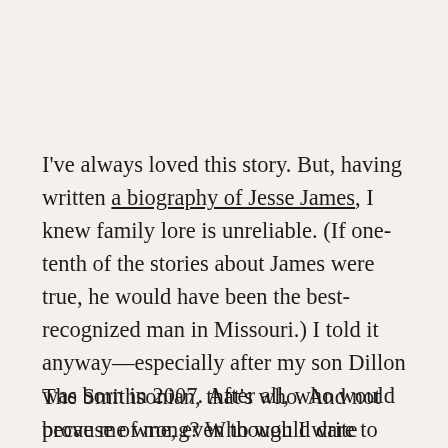I've always loved this story. But, having written a biography of Jesse James, I knew family lore is unreliable. (If one-tenth of the stories about James were true, he would have been the best-recognized man in Missouri.) I told it anyway—especially after my son Dillon was born in 2007. After all, who would prove me wrong? Who would dare to tear open Lincoln's watch to check?
The Smithsonian, that's who. And not because of me, even though I write about nineteenth-century